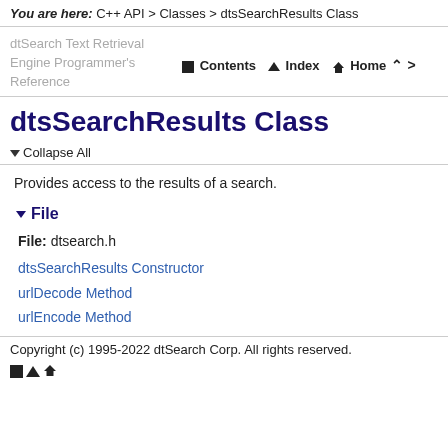You are here: C++ API > Classes > dtsSearchResults Class
dtSearch Text Retrieval Engine Programmer's Reference
Contents  Index  Home
dtsSearchResults Class
Collapse All
Provides access to the results of a search.
File
File: dtsearch.h
dtsSearchResults Constructor
urlDecode Method
urlEncode Method
Copyright (c) 1995-2022 dtSearch Corp. All rights reserved.